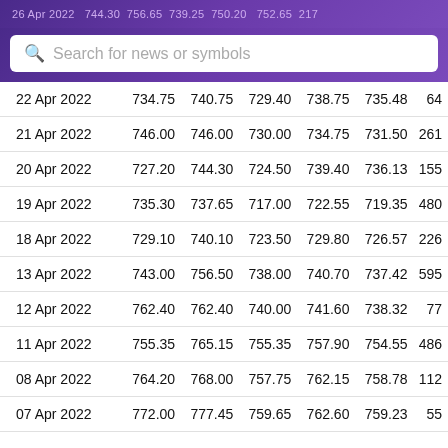26 Apr 2022  744.30  756.65  739.25  750.20  752.65  217
Search for news or symbols
| Date | Open | High | Low | Close | Adj Close | Volume |
| --- | --- | --- | --- | --- | --- | --- |
| 22 Apr 2022 | 734.75 | 740.75 | 729.40 | 738.75 | 735.48 | 64 |
| 21 Apr 2022 | 746.00 | 746.00 | 730.00 | 734.75 | 731.50 | 261 |
| 20 Apr 2022 | 727.20 | 744.30 | 724.50 | 739.40 | 736.13 | 155 |
| 19 Apr 2022 | 735.30 | 737.65 | 717.00 | 722.55 | 719.35 | 480 |
| 18 Apr 2022 | 729.10 | 740.10 | 723.50 | 729.80 | 726.57 | 226 |
| 13 Apr 2022 | 743.00 | 756.50 | 738.00 | 740.70 | 737.42 | 595 |
| 12 Apr 2022 | 762.40 | 762.40 | 740.00 | 741.60 | 738.32 | 77 |
| 11 Apr 2022 | 755.35 | 765.15 | 755.35 | 757.90 | 754.55 | 486 |
| 08 Apr 2022 | 764.20 | 768.00 | 757.75 | 762.15 | 758.78 | 112 |
| 07 Apr 2022 | 772.00 | 777.45 | 759.65 | 762.60 | 759.23 | 55 |